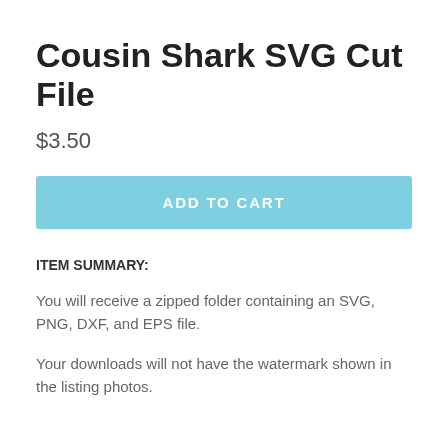Cousin Shark SVG Cut File
$3.50
[Figure (other): ADD TO CART button, light blue/cyan background with white bold uppercase text]
ITEM SUMMARY:
You will receive a zipped folder containing an SVG, PNG, DXF, and EPS file.
Your downloads will not have the watermark shown in the listing photos.